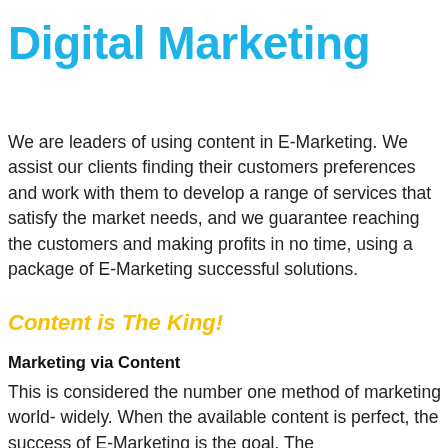Digital Marketing
We are leaders of using content in E-Marketing. We assist our clients finding their customers preferences and work with them to develop a range of services that satisfy the market needs, and we guarantee reaching the customers and making profits in no time, using a package of E-Marketing successful solutions.
Content is The King!
Marketing via Content
This is considered the number one method of marketing world- widely. When the available content is perfect, the success of E-Marketing is the goal. The...